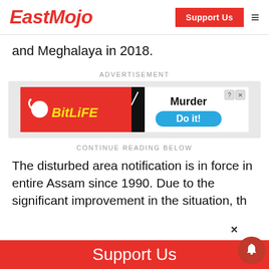EastMojo
and Meghalaya in 2018.
ADVERTISEMENT
[Figure (screenshot): BitLife mobile game advertisement showing 'Murder - Do it!' prompt]
CONTINUE READING BELOW
The disturbed area notification is in force in entire Assam since 1990. Due to the significant improvement in the situation, th
Support Us